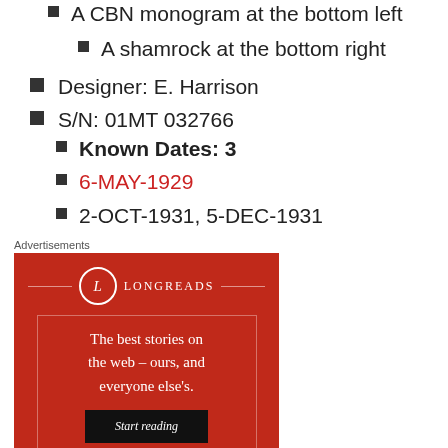A CBN monogram at the bottom left
A shamrock at the bottom right
Designer: E. Harrison
S/N: 01MT 032766
Known Dates: 3
6-MAY-1929
2-OCT-1931, 5-DEC-1931
Advertisements
[Figure (illustration): Longreads advertisement on red background with logo, tagline 'The best stories on the web – ours, and everyone else's.' and 'Start reading' button]